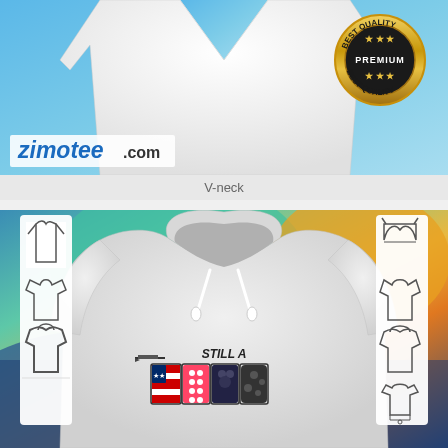[Figure (photo): White V-neck t-shirt on light blue background with zimotee.com logo and Best Quality Premium badge]
V-neck
[Figure (screenshot): White hoodie with American hero graphic print shown on a clothing customization app interface with garment type icons on left and right sides, colorful abstract background]